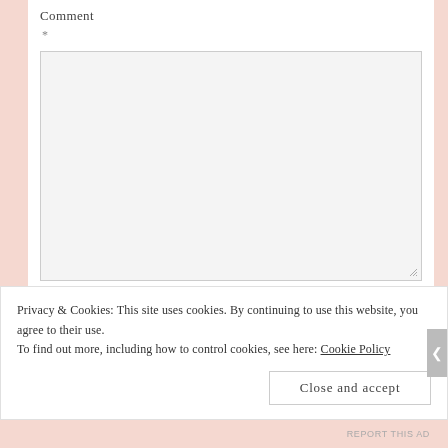Comment
*
Name
*
Privacy & Cookies: This site uses cookies. By continuing to use this website, you agree to their use.
To find out more, including how to control cookies, see here: Cookie Policy
Close and accept
REPORT THIS AD